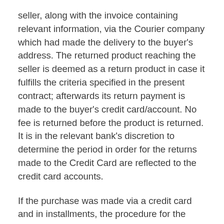seller, along with the invoice containing relevant information, via the Courier company which had made the delivery to the buyer's address. The returned product reaching the seller is deemed as a return product in case it fulfills the criteria specified in the present contract; afterwards its return payment is made to the buyer's credit card/account. No fee is returned before the product is returned. It is in the relevant bank's discretion to determine the period in order for the returns made to the Credit Card are reflected to the credit card accounts.
If the purchase was made via a credit card and in installments, the procedure for the return of the fee to the credit card shall be applied as follows: If the buyer had requested to buy the product in any number of installments of his/her choice, the Bank makes the return payment to the buyer in installments. After the Seller pays the entirety of the product fee to the bank in single sum, the requested return sums are transmitted to